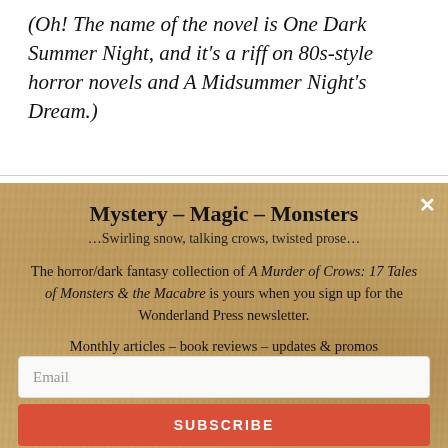(Oh! The name of the novel is One Dark Summer Night, and it's a riff on 80s-style horror novels and A Midsummer Night's Dream.)
Mystery – Magic – Monsters
…Swirling snow, talking crows, twisted prose…
The horror/dark fantasy collection of A Murder of Crows: 17 Tales of Monsters & the Macabre is yours when you sign up for the Wonderland Press newsletter.
Monthly articles – book reviews – updates & promos
Email
SUBSCRIBE